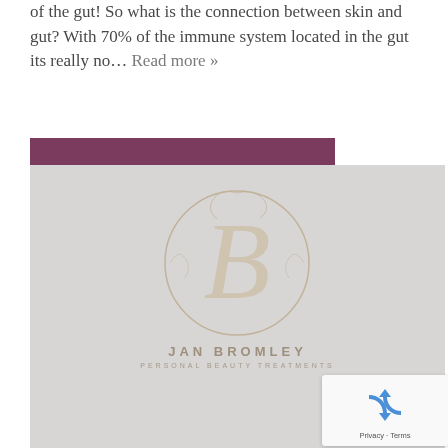of the gut! So what is the connection between skin and gut? With 70% of the immune system located in the gut its really no… Read more »
READ MORE
[Figure (logo): Jan Bromley Personal Beauty Treatments logo — an ornate letter B inside a decorative circle, with text 'JAN BROMLEY' and 'PERSONAL BEAUTY TREATMENTS' below, on a grey background.]
[Figure (other): reCAPTCHA widget showing recycling arrows icon with text 'Privacy - Terms']